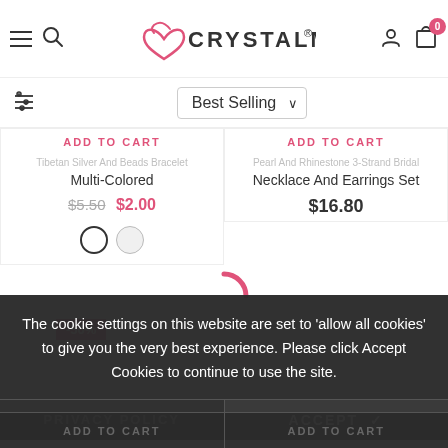CrystalMood website header with hamburger menu, search, logo, user and cart icons
Best Selling (sort dropdown)
Tibetan Silver And Beads Bracelet Multi-Colored
$5.50  $2.00
Pearl And Rhinestone 3-Strand Bridal Necklace And Earrings Set
$16.80
-50%
The cookie settings on this website are set to 'allow all cookies' to give you the very best experience. Please click Accept Cookies to continue to use the site.
PRIVACY POLICY
ACCEPT ✓
ADD TO CART
ADD TO CART